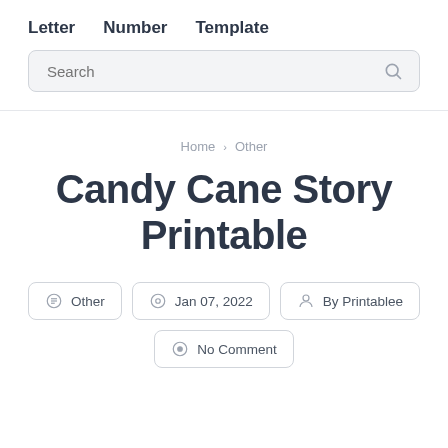Letter  Number  Template
Search
Home › Other
Candy Cane Story Printable
Other  Jan 07, 2022  By Printablee  No Comment